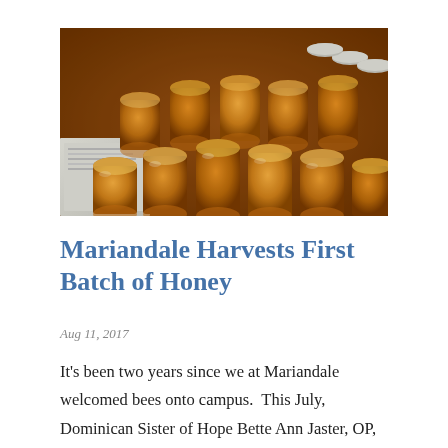[Figure (photo): Many small glass jars filled with golden honey arranged on a table, viewed from above at a slight angle. Some white lids are visible in the background.]
Mariandale Harvests First Batch of Honey
Aug 11, 2017
It's been two years since we at Mariandale welcomed bees onto campus.  This July, Dominican Sister of Hope Bette Ann Jaster, OP, master gardener and beekeeper Regina Blakeslee, her husband, Ed